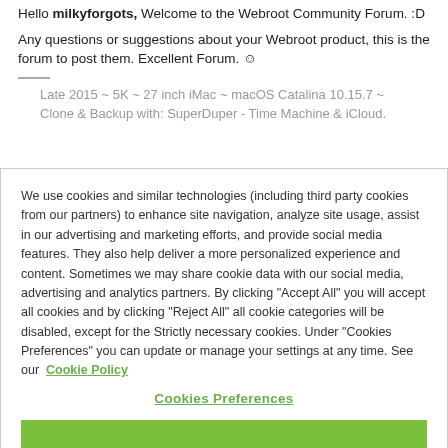Hello milkyforgots, Welcome to the Webroot Community Forum. :D Any questions or suggestions about your Webroot product, this is the forum to post them. Excellent Forum. ☺
Late 2015 ~ 5K ~ 27 inch iMac ~ macOS Catalina 10.15.7 ~ Clone & Backup with: SuperDuper - Time Machine & iCloud.
We use cookies and similar technologies (including third party cookies from our partners) to enhance site navigation, analyze site usage, assist in our advertising and marketing efforts, and provide social media features. They also help deliver a more personalized experience and content. Sometimes we may share cookie data with our social media, advertising and analytics partners. By clicking "Accept All" you will accept all cookies and by clicking "Reject All" all cookie categories will be disabled, except for the Strictly necessary cookies. Under "Cookies Preferences" you can update or manage your settings at any time. See our Cookie Policy
Cookies Preferences